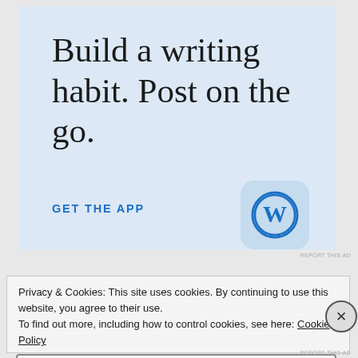[Figure (illustration): WordPress app advertisement with light blue background. Large serif text reads 'Build a writing habit. Post on the go.' with a blue 'GET THE APP' link and the WordPress 'W' logo icon in a rounded blue square.]
REPORT THIS AD
Privacy & Cookies: This site uses cookies. By continuing to use this website, you agree to their use.
To find out more, including how to control cookies, see here: Cookie Policy
Close and accept